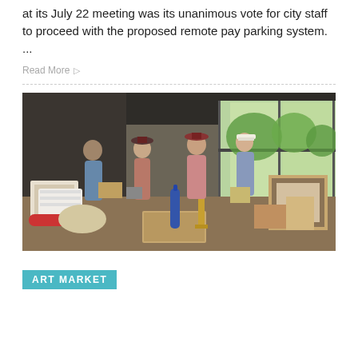at its July 22 meeting was its unanimous vote for city staff to proceed with the proposed remote pay parking system. ...
Read More ▷
[Figure (photo): Indoor scene showing several people browsing tables filled with miscellaneous items including antiques, art, household goods, and various collectibles at what appears to be an art market or sale event. Large windows in the background show green trees outside.]
ART MARKET